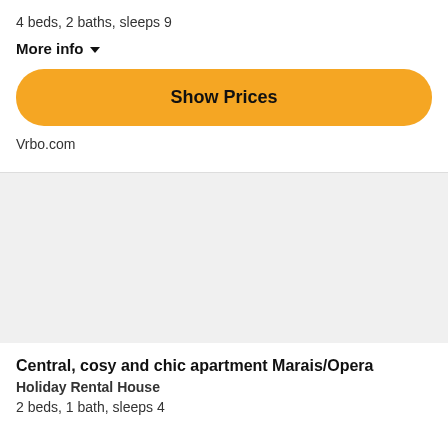4 beds, 2 baths, sleeps 9
More info
Show Prices
Vrbo.com
[Figure (photo): Gray placeholder image area for a rental property listing]
Central, cosy and chic apartment Marais/Opera
Holiday Rental House
2 beds, 1 bath, sleeps 4